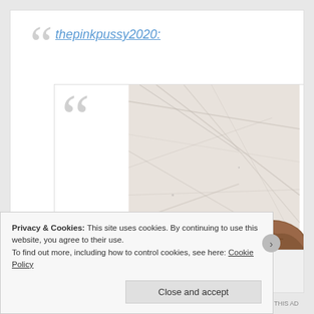thepinkpussy2020:
[Figure (photo): A photo of a person with brown/auburn hair against a marble wall background. The image shows the person's head from the top, against white/gray veined marble. Large decorative quotation marks are visible in the background.]
Privacy & Cookies: This site uses cookies. By continuing to use this website, you agree to their use.
To find out more, including how to control cookies, see here: Cookie Policy
Close and accept